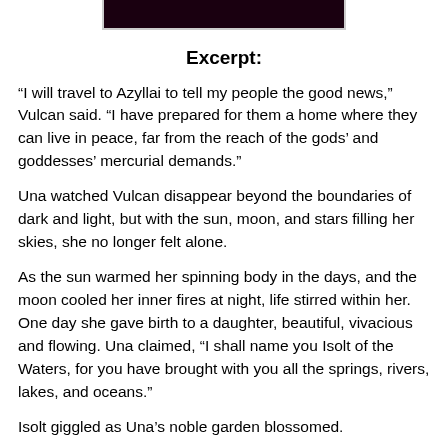[Figure (illustration): Dark rectangular banner image at top of page, partially cropped, with a light border on the sides and bottom.]
Excerpt:
“I will travel to Azyllai to tell my people the good news,” Vulcan said. “I have prepared for them a home where they can live in peace, far from the reach of the gods’ and goddesses’ mercurial demands.”
Una watched Vulcan disappear beyond the boundaries of dark and light, but with the sun, moon, and stars filling her skies, she no longer felt alone.
As the sun warmed her spinning body in the days, and the moon cooled her inner fires at night, life stirred within her. One day she gave birth to a daughter, beautiful, vivacious and flowing. Una claimed, “I shall name you Isolt of the Waters, for you have brought with you all the springs, rivers, lakes, and oceans.”
Isolt giggled as Una’s noble garden blossomed.